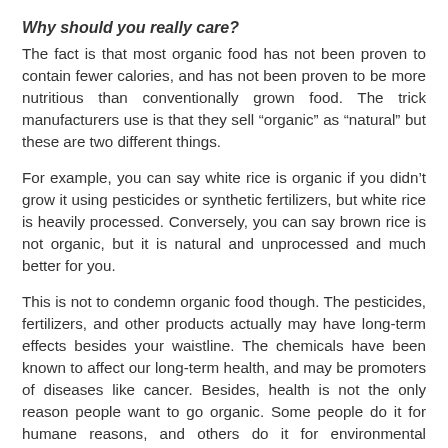Why should you really care?
The fact is that most organic food has not been proven to contain fewer calories, and has not been proven to be more nutritious than conventionally grown food. The trick manufacturers use is that they sell “organic” as “natural” but these are two different things.
For example, you can say white rice is organic if you didn’t grow it using pesticides or synthetic fertilizers, but white rice is heavily processed. Conversely, you can say brown rice is not organic, but it is natural and unprocessed and much better for you.
This is not to condemn organic food though. The pesticides, fertilizers, and other products actually may have long-term effects besides your waistline. The chemicals have been known to affect our long-term health, and may be promoters of diseases like cancer. Besides, health is not the only reason people want to go organic. Some people do it for humane reasons, and others do it for environmental reasons.